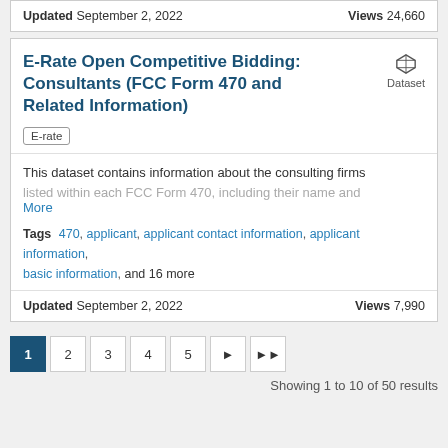Updated September 2, 2022    Views 24,660
E-Rate Open Competitive Bidding: Consultants (FCC Form 470 and Related Information)
E-rate
This dataset contains information about the consulting firms listed within each FCC Form 470, including their name and More
Tags  470, applicant, applicant contact information, applicant information, basic information, and 16 more
Updated September 2, 2022    Views 7,990
1 2 3 4 5 ► ►►
Showing 1 to 10 of 50 results